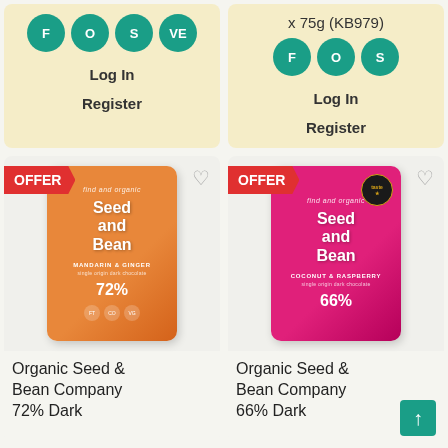x 75g (KB979)
[Figure (infographic): Left product card top section: Four circular teal badges labeled F, O, S, VE; Log In button; Register button]
[Figure (infographic): Right product card top section: Three circular teal badges labeled F, O, S; Log In button; Register button]
[Figure (photo): Organic Seed & Bean Company 72% Dark Chocolate bar - Mandarin & Ginger flavor, orange packaging, with OFFER badge]
[Figure (photo): Organic Seed & Bean Company 66% Dark Chocolate bar - Coconut & Raspberry flavor, pink/magenta packaging, with OFFER badge and taste award]
Organic Seed & Bean Company 72% Dark
Organic Seed & Bean Company 66% Dark